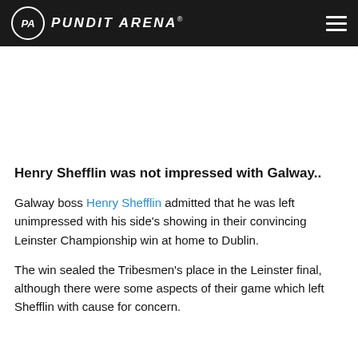PUNDIT ARENA
Henry Shefflin was not impressed with Galway..
Galway boss Henry Shefflin admitted that he was left unimpressed with his side's showing in their convincing Leinster Championship win at home to Dublin.
The win sealed the Tribesmen's place in the Leinster final, although there were some aspects of their game which left Shefflin with cause for concern.